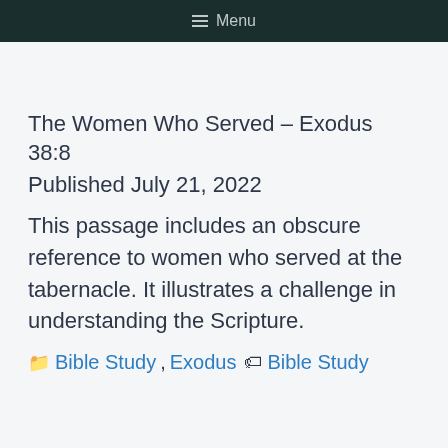≡ Menu
The Women Who Served – Exodus 38:8
Published July 21, 2022
This passage includes an obscure reference to women who served at the tabernacle. It illustrates a challenge in understanding the Scripture.
Bible Study, Exodus  Bible Study